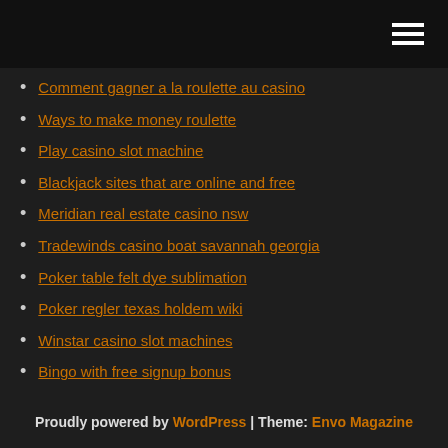[hamburger menu icon]
Comment gagner a la roulette au casino
Ways to make money roulette
Play casino slot machine
Blackjack sites that are online and free
Meridian real estate casino nsw
Tradewinds casino boat savannah georgia
Poker table felt dye sublimation
Poker regler texas holdem wiki
Winstar casino slot machines
Bingo with free signup bonus
Slot yang terdapat pada komputer
Proudly powered by WordPress | Theme: Envo Magazine